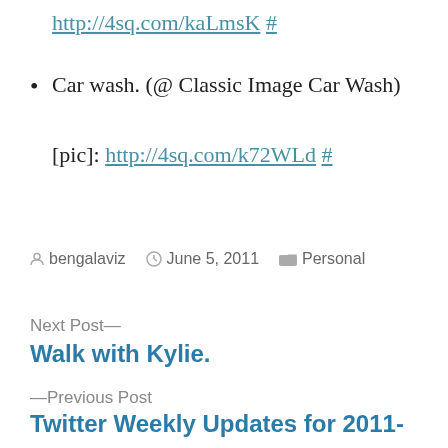http://4sq.com/kaLmsK #
Car wash. (@ Classic Image Car Wash) [pic]: http://4sq.com/k72WLd #
By bengalaviz  June 5, 2011  Personal
Next Post—
Walk with Kylie.
—Previous Post
Twitter Weekly Updates for 2011-